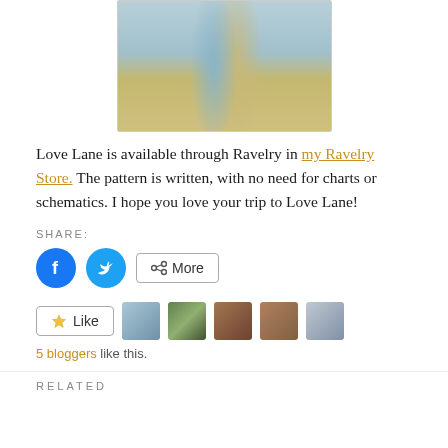[Figure (photo): A knitted scarf/shawl in two colors — blue-grey and tan/gold — draped against a light background, showing two loops of the knitted fabric.]
Love Lane is available through Ravelry in my Ravelry Store. The pattern is written, with no need for charts or schematics. I hope you love your trip to Love Lane!
SHARE:
[Figure (other): Share buttons: Facebook icon (blue circle with F), Twitter icon (blue circle with bird), More button with share icon]
[Figure (other): Like button with star icon, followed by 5 blogger avatar thumbnails]
5 bloggers like this.
RELATED